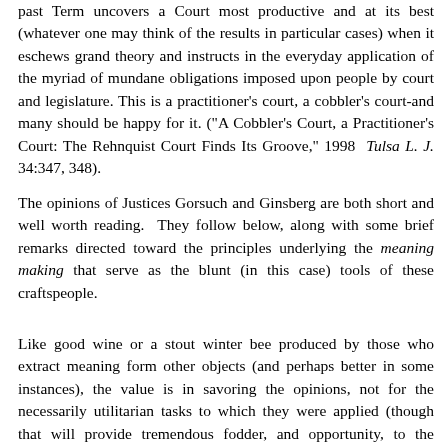past Term uncovers a Court most productive and at its best (whatever one may think of the results in particular cases) when it eschews grand theory and instructs in the everyday application of the myriad of mundane obligations imposed upon people by court and legislature. This is a practitioner's court, a cobbler's court-and many should be happy for it. ("A Cobbler's Court, a Practitioner's Court: The Rehnquist Court Finds Its Groove," 1998 Tulsa L. J. 34:347, 348).
The opinions of Justices Gorsuch and Ginsberg are both short and well worth reading. They follow below, along with some brief remarks directed toward the principles underlying the meaning making that serve as the blunt (in this case) tools of these craftspeople.
Like good wine or a stout winter bee produced by those who extract meaning form other objects (and perhaps better in some instances), the value is in savoring the opinions, not for the necessarily utilitarian tasks to which they were applied (though that will provide tremendous fodder, and opportunity, to the arbitration communities of which I will say no more (but see here, here, here